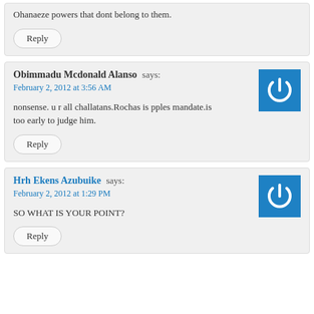Ohanaeze powers that dont belong to them.
Reply
Obimmadu Mcdonald Alanso says:
February 2, 2012 at 3:56 AM
nonsense. u r all challatans.Rochas is pples mandate.is too early to judge him.
Reply
Hrh Ekens Azubuike says:
February 2, 2012 at 1:29 PM
SO WHAT IS YOUR POINT?
Reply